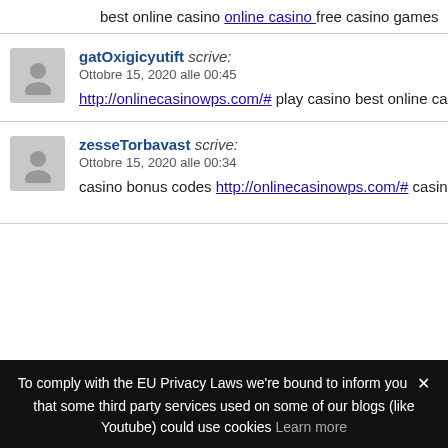best online casino online casino free casino games
gatOxigicyutift scrive: Ottobre 15, 2020 alle 00:45
http://onlinecasinowps.com/# play casino best online ca
zesseTorbavast scrive: Ottobre 15, 2020 alle 00:34
casino bonus codes http://onlinecasinowps.com/# casin
To comply with the EU Privacy Laws we're bound to inform you ✕ that some third party services used on some of our blogs (like Youtube) could use cookies Learn more